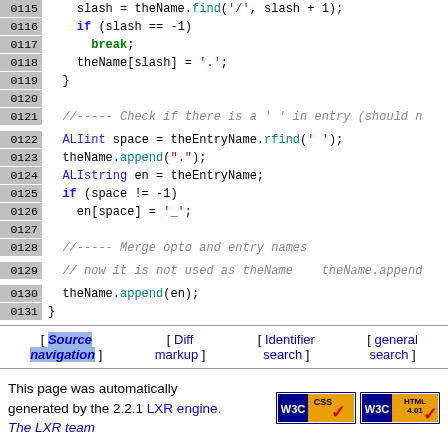[Figure (screenshot): Source code listing lines 0115-0131 with syntax highlighting. Line numbers in gray column on left, code with colored keywords (blue, green, teal, red) on right.]
[ Source navigation ] [ Diff markup ] [ Identifier search ] [ general search ]
This page was automatically generated by the 2.2.1 LXR engine. The LXR team